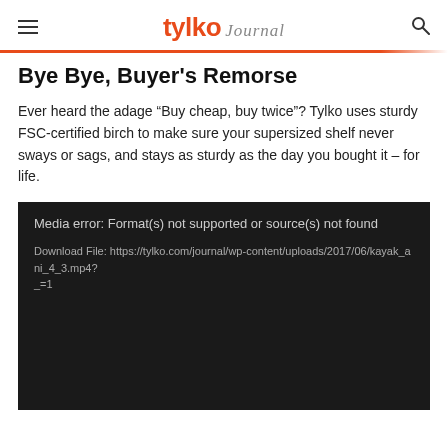tylko Journal
Bye Bye, Buyer's Remorse
Ever heard the adage “Buy cheap, buy twice”? Tylko uses sturdy FSC-certified birch to make sure your supersized shelf never sways or sags, and stays as sturdy as the day you bought it – for life.
[Figure (screenshot): Media error box on dark background showing: 'Media error: Format(s) not supported or source(s) not found' and 'Download File: https://tylko.com/journal/wp-content/uploads/2017/06/kayak_ani_4_3.mp4?_=1']